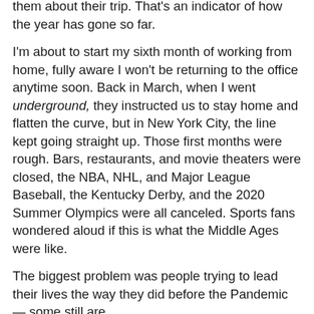them about their trip.  That's an indicator of how the year has gone so far.
I'm about to start my sixth month of working from home, fully aware I won't be returning to the office anytime soon.  Back in March, when I went underground, they instructed us to stay home and flatten the curve, but in New York City, the line kept going straight up.  Those first months were rough.  Bars, restaurants, and movie theaters were closed, the NBA, NHL, and Major League Baseball, the Kentucky Derby, and the 2020 Summer Olympics were all canceled.  Sports fans wondered aloud if this is what the Middle Ages were like.
The biggest problem was people trying to lead their lives the way they did before the Pandemic — some still are.
I've been home since St. Patrick's Day, how's that for irony?  In the 176 days I've been home, I realized the glass wasn't empty or half full. Good things happened along the way too.  You just had to be paying attention.